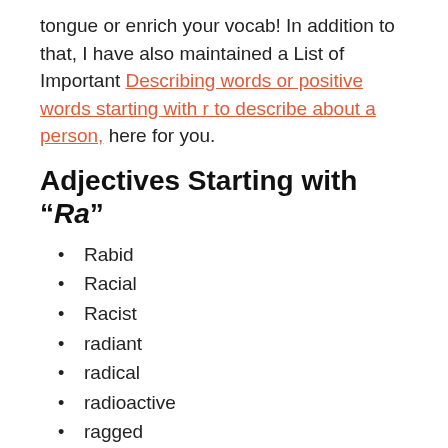tongue or enrich your vocab! In addition to that, I have also maintained a List of Important Describing words or positive words starting with r to describe about a person, here for you.
Adjectives Starting with “Ra”
Rabid
Racial
Racist
radiant
radical
radioactive
ragged
raging
rainbow-colored
rainy
rakish